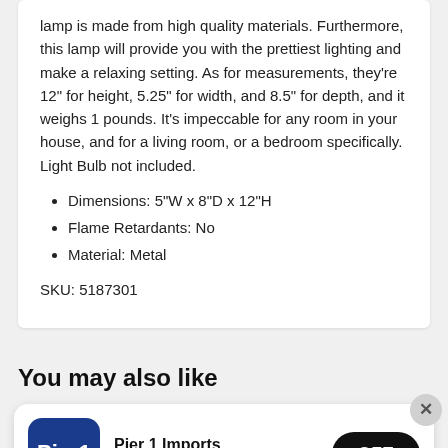lamp is made from high quality materials. Furthermore, this lamp will provide you with the prettiest lighting and make a relaxing setting. As for measurements, they're 12" for height, 5.25" for width, and 8.5" for depth, and it weighs 1 pounds. It's impeccable for any room in your house, and for a living room, or a bedroom specifically. Light Bulb not included.
Dimensions: 5"W x 8"D x 12"H
Flame Retardants: No
Material: Metal
SKU: 5187301
You may also like
[Figure (screenshot): Pier 1 Imports app download banner with logo, text 'Download App and save $20', and a GET button. A close (×) button is in the top-right corner.]